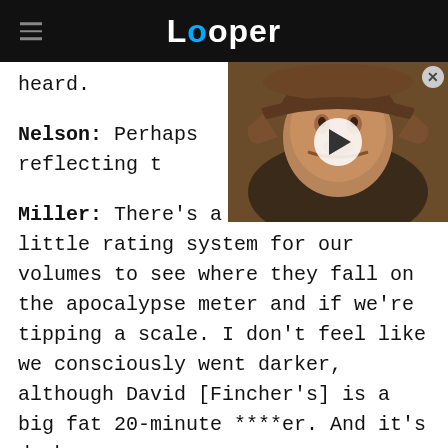Looper
heard.
Nelson: Perhaps reflecting t[he...]
[Figure (screenshot): Video thumbnail showing a man wearing a brown cowboy hat, with a play button overlay. Close button (X) in top right corner.]
Miller: There's a war in Ukra[ine...] little rating system for our volumes to see where they fall on the apocalypse meter and if we're tipping a scale. I don't feel like we consciously went darker, although David [Fincher's] is a big fat 20-minute ****er. And it's dark.
Nelson: That one went dark.
Miller: It's people being eaten by a giant crab. Pretty